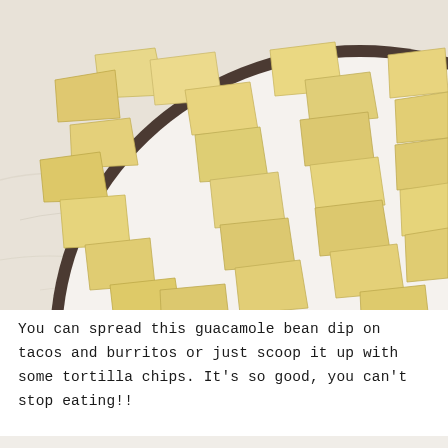[Figure (photo): Overhead photo of a large round white plate with dark rim filled with tortilla chips, and a smaller bowl with blue rim containing guacamole and red kidney beans, all on a marble surface.]
You can spread this guacamole bean dip on tacos and burritos or just scoop it up with some tortilla chips. It's so good, you can't stop eating!!